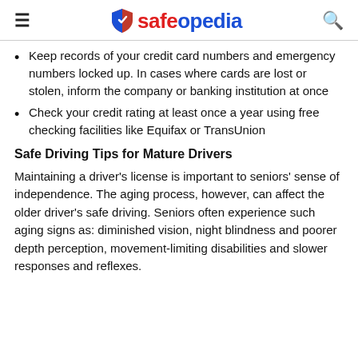safeopedia
Keep records of your credit card numbers and emergency numbers locked up. In cases where cards are lost or stolen, inform the company or banking institution at once
Check your credit rating at least once a year using free checking facilities like Equifax or TransUnion
Safe Driving Tips for Mature Drivers
Maintaining a driver's license is important to seniors' sense of independence. The aging process, however, can affect the older driver's safe driving. Seniors often experience such aging signs as: diminished vision, night blindness and poorer depth perception, movement-limiting disabilities and slower responses and reflexes.